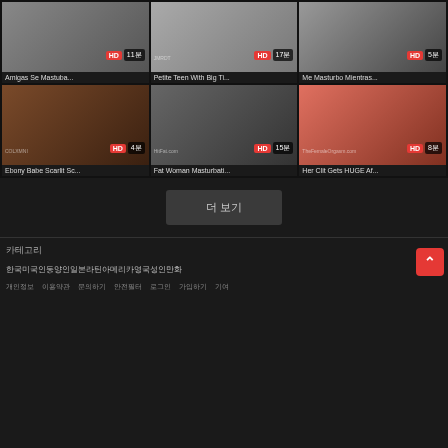[Figure (screenshot): Video thumbnail grid - Row 1: 3 adult video thumbnails with HD badges and duration labels]
Amigas Se Mastuba...
Petite Teen With Big Ti...
Me Masturbo Mientras...
[Figure (screenshot): Video thumbnail grid - Row 2: 3 adult video thumbnails with HD badges and duration labels]
Ebony Babe Scarlit Sc...
Fat Woman Masturbati...
Her Clit Gets HUGE Af...
더 보기
카테고리
한국 미국인 동양인 일본 라틴아메리카 영국 성인만화
개인정보 이용약관 문의하기 안전필터 로그인 가입하기 기여